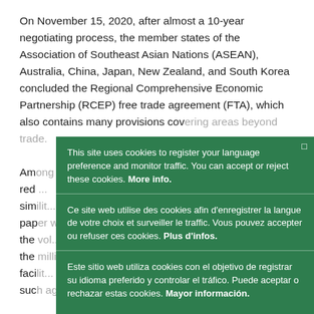On November 15, 2020, after almost a 10-year negotiating process, the member states of the Association of Southeast Asian Nations (ASEAN), Australia, China, Japan, New Zealand, and South Korea concluded the Regional Comprehensive Economic Partnership (RCEP) free trade agreement (FTA), which also contains many provisions covering areas beyond trade.

Among the ... red ... sim ... pap ... the ... the ... facilit... billion of profe... certifications suc... clocks and blo...

The conclusion of RCEP, described as a "game changer" by some, produced much excitement. Reasons for that
This site uses cookies to register your language preference and monitor traffic. You can accept or reject these cookies. More info.

Ce site web utilise des cookies afin d'enregistrer la langue de votre choix et surveiller le traffic. Vous pouvez accepter ou refuser ces cookies. Plus d'infos.

Este sitio web utiliza cookies con el objetivo de registrar su idioma preferido y controlar el tráfico. Puede aceptar o rechazar estas cookies. Mayor información.

Ok